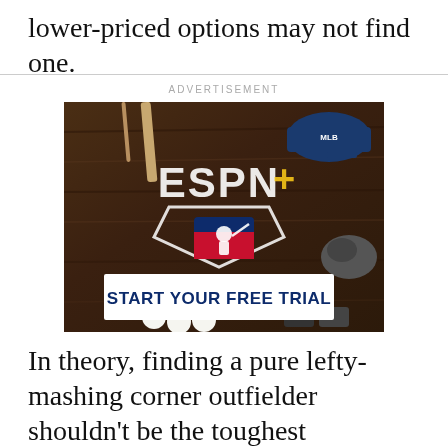lower-priced options may not find one.
ADVERTISEMENT
[Figure (photo): ESPN+ and MLB advertisement banner on a dark wood background with baseball equipment (bat, cap, glove, cleats, baseballs). Features ESPN+ logo with home plate graphic, MLB logo, and a 'START YOUR FREE TRIAL' button in white box with navy text.]
In theory, finding a pure lefty-mashing corner outfielder shouldn't be the toughest